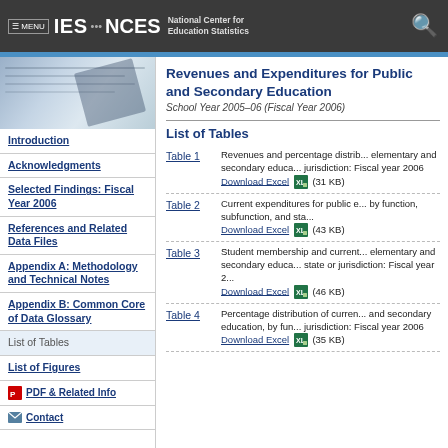MENU | IES · NCES National Center for Education Statistics
[Figure (photo): Close-up photograph of financial/statistical documents with a pen]
Revenues and Expenditures for Public and Secondary Education
School Year 2005–06 (Fiscal Year 2006)
List of Tables
Introduction
Acknowledgments
Selected Findings: Fiscal Year 2006
References and Related Data Files
Appendix A: Methodology and Technical Notes
Appendix B: Common Core of Data Glossary
List of Tables
List of Figures
PDF & Related Info
Contact
Table 1 — Revenues and percentage distribution of revenues for public elementary and secondary education, by source and state or jurisdiction: Fiscal year 2006
Download Excel (31 KB)
Table 2 — Current expenditures for public elementary and secondary education, by function, subfunction, and state or jurisdiction
Download Excel (43 KB)
Table 3 — Student membership and current expenditures per pupil for public elementary and secondary education, by state or jurisdiction: Fiscal year 2006
Download Excel (46 KB)
Table 4 — Percentage distribution of current expenditures for public elementary and secondary education, by function and state or jurisdiction: Fiscal year 2006
Download Excel (35 KB)